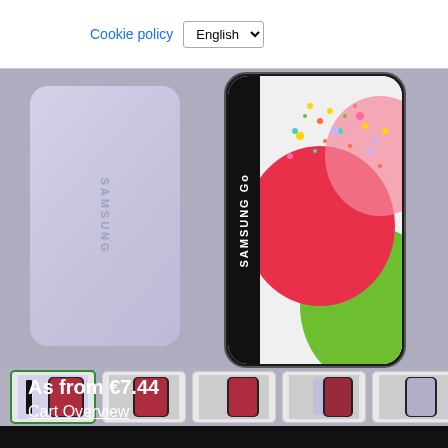[Figure (screenshot): Cookie policy bar with language selector showing 'English']
[Figure (photo): Samsung Galaxy smartphone shown from front and back. Back is lavender/violet color with SAMSUNG text. Front screen shows colorful candy/confetti on pink and green background with SAMSUNG Go text.]
[Figure (screenshot): Thumbnail strip showing 5 small images of the Samsung Galaxy phone product.]
As from €7.44
Cart Overview